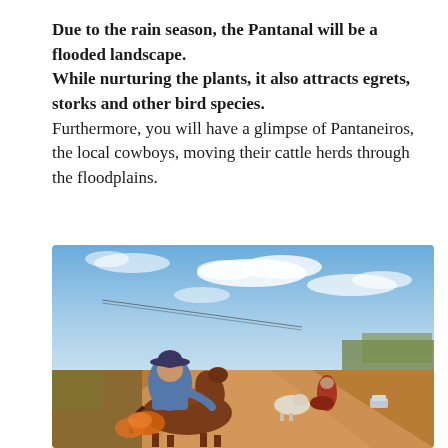Due to the rain season, the Pantanal will be a flooded landscape. While nurturing the plants, it also attracts egrets, storks and other bird species. Furthermore, you will have a glimpse of Pantaneiros, the local cowboys, moving their cattle herds through the floodplains.
[Figure (photo): A Pantaneiro (local cowboy) on horseback on a dirt road, wearing a wide-brimmed hat and blue shirt, with cattle and another rider visible in the background under a blue sky with clouds.]